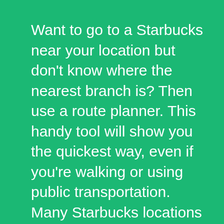Want to go to a Starbucks near your location but don't know where the nearest branch is? Then use a route planner. This handy tool will show you the quickest way, even if you're walking or using public transportation. Many Starbucks locations near you can be found in train stations so you can quickly order your favorite coffee while waiting for your train or bus.